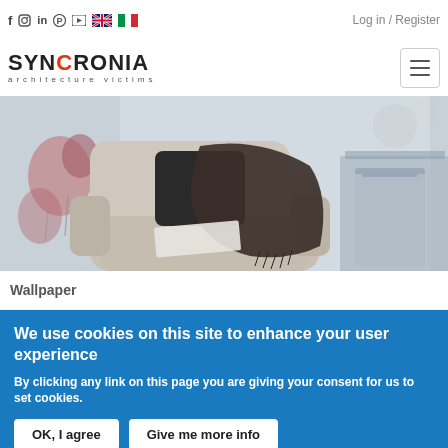f  instagram  in  pinterest  youtube  [UK flag]  [IT flag]  Log in / Register
SYNCRONIA architecture victims
[Figure (photo): Interior photo showing a light grey upholstered armchair with a black pillow and dark brown throw blanket draped over it, with floral/botanical wallpaper in the background and a glass side table on the right.]
Wallpaper
We use cookies on this site to enhance your user experience
By clicking any link on this page you are giving your consent for us to set cookies.
OK, I agree   Give me more info